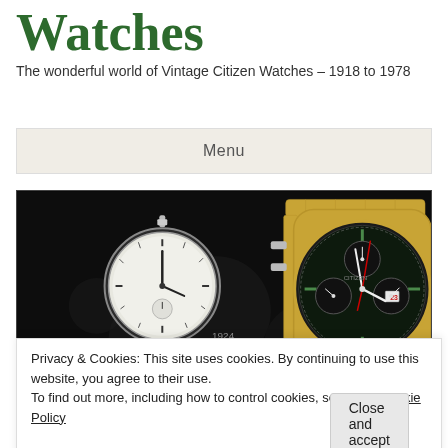Watches
The wonderful world of Vintage Citizen Watches – 1918 to 1978
Menu
[Figure (photo): Dark background showing a vintage pocket watch on the left with text '1924...' and a modern Citizen chronograph wristwatch with gold bracelet on the right, with text '1978' in lower right corner.]
Privacy & Cookies: This site uses cookies. By continuing to use this website, you agree to their use.
To find out more, including how to control cookies, see here: Cookie Policy
Close and accept